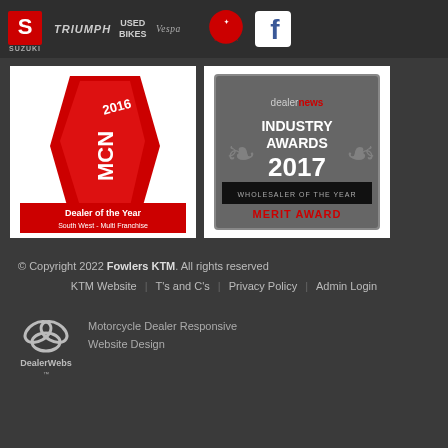Suzuki | Triumph | Used Bikes | Vespa | Yamaha | Facebook
[Figure (logo): MCN Dealer of the Year 2016 South West - Multi Franchise award trophy (red 3D award)]
[Figure (logo): Dealer News Industry Awards 2017 - Wholesaler of the Year Merit Award badge]
© Copyright 2022 Fowlers KTM. All rights reserved
KTM Website | T's and C's | Privacy Policy | Admin Login
[Figure (logo): DealerWebs logo]
Motorcycle Dealer Responsive Website Design